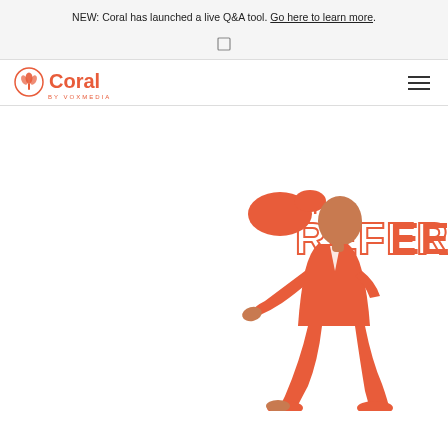NEW: Coral has launched a live Q&A tool. Go here to learn more.
[Figure (screenshot): Search icon / menu toggle]
[Figure (logo): Coral by Vox Media logo with coral tulip icon]
[Figure (illustration): Illustration of a running/gesturing woman in coral/orange outfit with ponytail, next to the text 'THE REFEREE' in coral outlined letters]